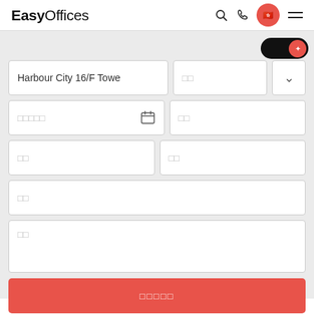EasyOffices
[Figure (screenshot): EasyOffices web form with address field 'Harbour City 16/F Towe', date picker, and several input fields in Chinese characters, plus a red submit button]
Harbour City 16/F Towe
□□
□□□□□
□□
□□
□□
□□
□□□□□